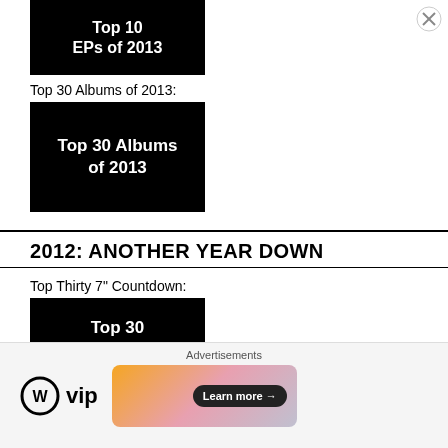[Figure (illustration): Black thumbnail image with text 'Top 10 EPs of 2013' in white bold font]
Top 30 Albums of 2013:
[Figure (illustration): Black thumbnail image with text 'Top 30 Albums of 2013' in white bold font]
2012: ANOTHER YEAR DOWN
Top Thirty 7" Countdown:
[Figure (illustration): Black thumbnail image with text 'Top 30 7" Records (#30-16)' in white bold font]
[Figure (illustration): Black thumbnail image with text 'Top 30 7" Records (#15-01)' in white bold font]
Top 10 EPs of 2012...